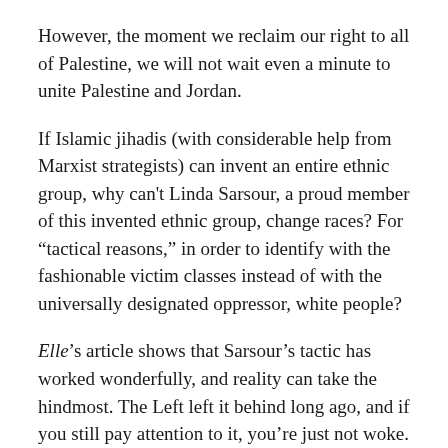However, the moment we reclaim our right to all of Palestine, we will not wait even a minute to unite Palestine and Jordan.
If Islamic jihadis (with considerable help from Marxist strategists) can invent an entire ethnic group, why can't Linda Sarsour, a proud member of this invented ethnic group, change races? For “tactical reasons,” in order to identify with the fashionable victim classes instead of with the universally designated oppressor, white people?
Elle’s article shows that Sarsour’s tactic has worked wonderfully, and reality can take the hindmost. The Left left it behind long ago, and if you still pay attention to it, you’re just not woke.
PJM: https://pjmedia.com/lifestyle/elle-puts-white-linda-sarsour-on-its-list-of-women-of-color-in-politics-to-